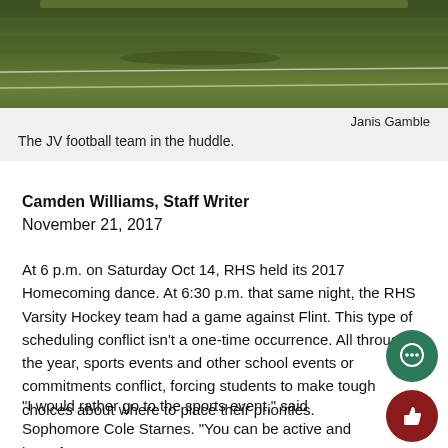[Figure (photo): Photo of JV football team on a grass field, taken from above showing yard lines on the field.]
Janis Gamble
The JV football team in the huddle.
Camden Williams, Staff Writer
November 21, 2017
At 6 p.m. on Saturday Oct 14, RHS held its 2017 Homecoming dance. At 6:30 p.m. that same night, the RHS Varsity Hockey team had a game against Flint. This type of scheduling conflict isn’t a one-time occurrence. All through the year, sports events and other school events or commitments conflict, forcing students to make tough choices about where to place their priorities.
“I would rather go to the sports event,” said Sophomore Cole Starnes. “You can be active and have fun.”